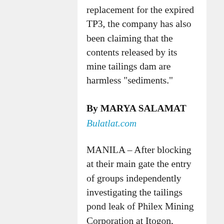replacement for the expired TP3, the company has also been claiming that the contents released by its mine tailings dam are harmless “sediments.”
By MARYA SALAMAT
Bulatlat.com
MANILA – After blocking at their main gate the entry of groups independently investigating the tailings pond leak of Philex Mining Corporation at Itogon, Benguet, Philex disclosed